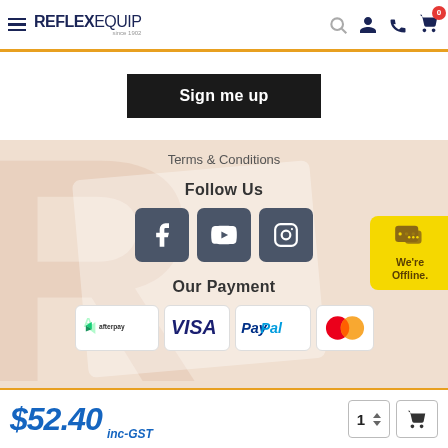Reflex Equip - navigation header with logo, search, user, phone, cart icons
Sign me up
Terms & Conditions
Follow Us
[Figure (other): Social media icon buttons: Facebook, YouTube, Instagram]
Our Payment
[Figure (other): Payment method logos: Afterpay, Visa, PayPal, Mastercard]
We're Offline.
$52.40 inc-GST, quantity selector showing 1, add to cart button